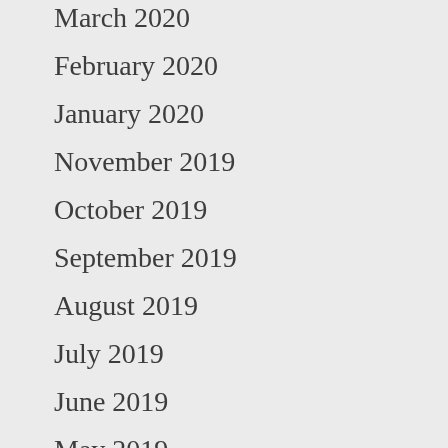March 2020
February 2020
January 2020
November 2019
October 2019
September 2019
August 2019
July 2019
June 2019
May 2019
March 2019
February 2019
January 2019